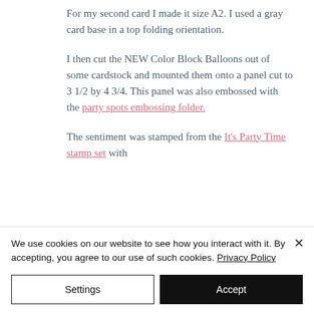For my second card I made it size A2. I used a gray card base in a top folding orientation.
I then cut the NEW Color Block Balloons out of some cardstock and mounted them onto a panel cut to 3 1/2 by 4 3/4. This panel was also embossed with the party spots embossing folder.
The sentiment was stamped from the It's Party Time stamp set with
We use cookies on our website to see how you interact with it. By accepting, you agree to our use of such cookies. Privacy Policy